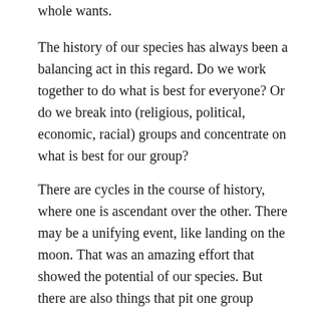whole wants.
The history of our species has always been a balancing act in this regard. Do we work together to do what is best for everyone? Or do we break into (religious, political, economic, racial) groups and concentrate on what is best for our group?
There are cycles in the course of history, where one is ascendant over the other. There may be a unifying event, like landing on the moon. That was an amazing effort that showed the potential of our species. But there are also things that pit one group against another.